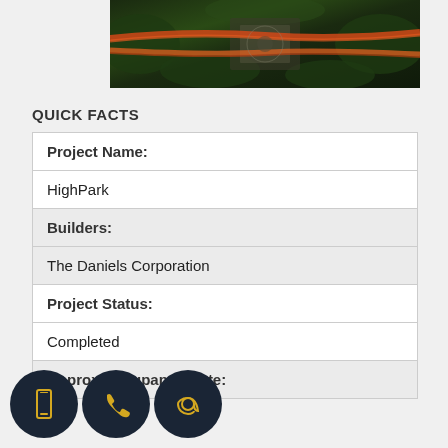[Figure (photo): Aerial/overhead photo of a building complex with illuminated roads and green trees, nighttime shot with light trails]
QUICK FACTS
| Project Name: |
| HighPark |
| Builders: |
| The Daniels Corporation |
| Project Status: |
| Completed |
| Approx Occupancy Date: |